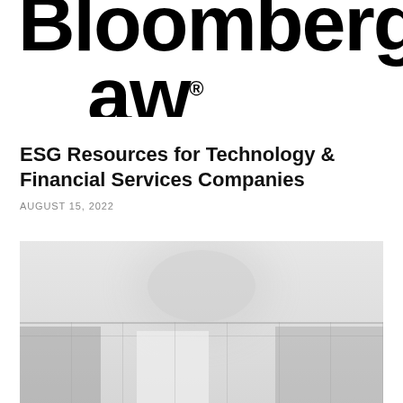[Figure (logo): Bloomberg Law logo — bold black sans-serif wordmark showing 'Bloomberg' above '_aw' with registered trademark symbol]
ESG Resources for Technology & Financial Services Companies
AUGUST 15, 2022
[Figure (photo): Faded grayscale interior/office photograph showing ceiling fixtures and architectural elements]